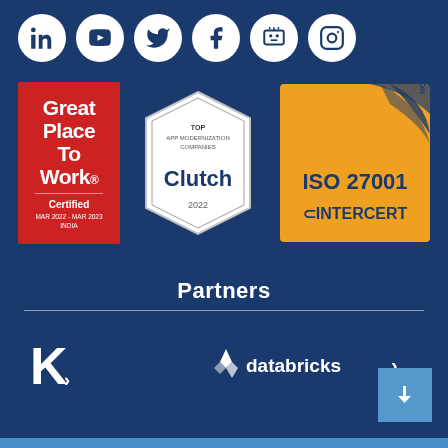[Figure (illustration): Row of 6 social media icon circles (LinkedIn, YouTube, Twitter, Facebook, Slideshare, Instagram) on dark blue background]
[Figure (logo): Great Place To Work Certified badge, red, MAR 2022 - MAR 2023, INDIA]
[Figure (logo): Clutch Top App Modernization Companies badge, hexagon shape, 2022]
[Figure (logo): ISO 27001 Certification badge, gold/orange with INTERCERT logo]
Partners
[Figure (logo): Kore.ai logo (stylized K with arrow)]
[Figure (logo): Databricks logo with text]